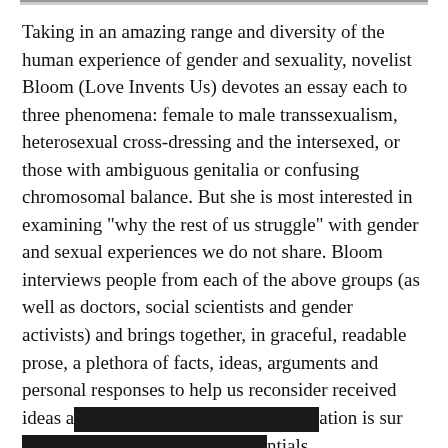Taking in an amazing range and diversity of the human experience of gender and sexuality, novelist Bloom (Love Invents Us) devotes an essay each to three phenomena: female to male transsexualism, heterosexual cross-dressing and the intersexed, or those with ambiguous genitalia or confusing chromosomal balance. But she is most interested in examining "why the rest of us struggle" with gender and sexual experiences we do not share. Bloom interviews people from each of the above groups (as well as doctors, social scientists and gender activists) and brings together, in graceful, readable prose, a plethora of facts, ideas, arguments and personal responses to help us reconsider received ideas a[REDACTED]ation is sur[REDACTED]ntials